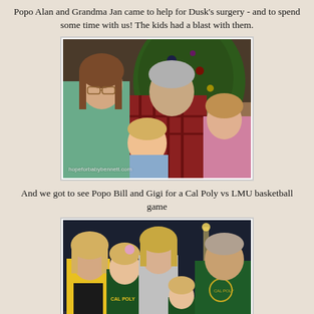Popo Alan and Grandma Jan came to help for Dusk's surgery - and to spend some time with us! The kids had a blast with them.
[Figure (photo): Family photo indoors near a Christmas tree. A woman with glasses and brown hair, an older man in a plaid shirt, a toddler boy, and a young girl are posing together smiling. Watermark: hopeforbabybennett.com]
And we got to see Popo Bill and Gigi for a Cal Poly vs LMU basketball game
[Figure (photo): Group photo outdoors at night. A woman in a yellow cardigan, a young girl in a Cal Poly cheerleader outfit, a taller woman, a small child in a Cal Poly shirt, and a man in a green Cal Poly hoodie are posing together. Watermark: hopeforbabybennett.com]